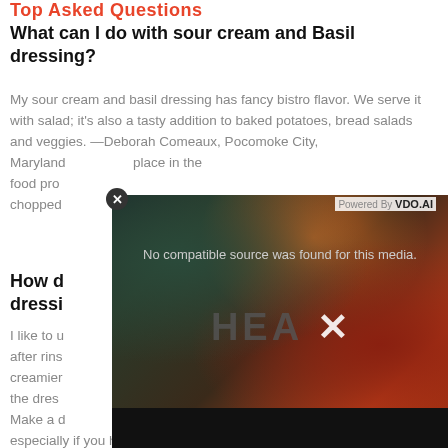Top Asked Questions
What can I do with sour cream and Basil dressing?
My sour cream and basil dressing has fancy bistro flavor. We serve it with salad; it's also a tasty addition to baked potatoes, bread salads and veggies. —Deborah Comeaux, Pocomoke City, Maryland place in the food pro chopped
How d dressing
I like to u after rins creamier the dres Make a d especially if you have an abundance of basil!
[Figure (screenshot): Video player overlay showing 'No compatible source was found for this media.' with HEA X branding on a dark textured background with teal and orange gradient. Powered by VDO.AI shown in top right. Close button (x) in top left corner.]